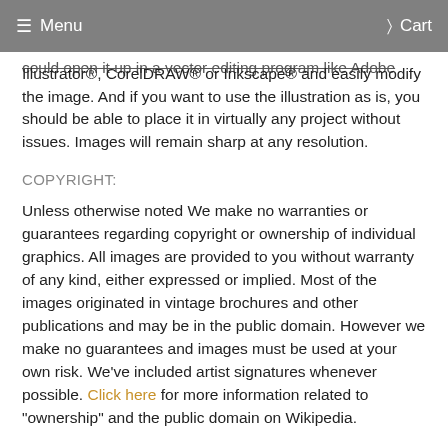Menu   Cart
could open it up in a vector editing program like Adobe Illustrator®, CorelDRAW® or Inkscape® and easily modify the image. And if you want to use the illustration as is, you should be able to place it in virtually any project without issues. Images will remain sharp at any resolution.
COPYRIGHT:
Unless otherwise noted We make no warranties or guarantees regarding copyright or ownership of individual graphics. All images are provided to you without warranty of any kind, either expressed or implied. Most of the images originated in vintage brochures and other publications and may be in the public domain. However we make no guarantees and images must be used at your own risk. We've included artist signatures whenever possible. Click here for more information related to "ownership" and the public domain on Wikipedia.